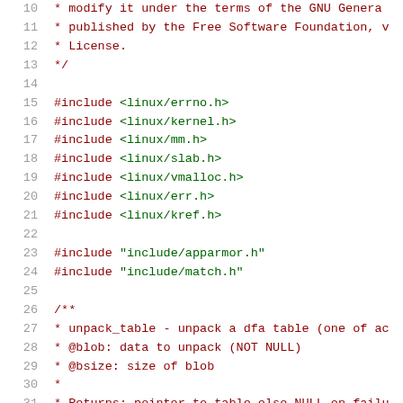10   * modify it under the terms of the GNU General...
11   * published by the Free Software Foundation, v...
12   * License.
13   */
14
15   #include <linux/errno.h>
16   #include <linux/kernel.h>
17   #include <linux/mm.h>
18   #include <linux/slab.h>
19   #include <linux/vmalloc.h>
20   #include <linux/err.h>
21   #include <linux/kref.h>
22
23   #include "include/apparmor.h"
24   #include "include/match.h"
25
26   /**
27   * unpack_table - unpack a dfa table (one of ac...
28   * @blob: data to unpack (NOT NULL)
29   * @bsize: size of blob
30   *
31   * Returns: pointer to table else NULL on failu...